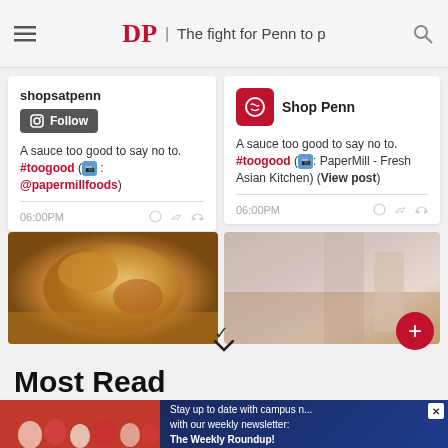DP | The fight for Penn to p
shopsatpenn
Follow
A sauce too good to say no to. #toogood (📷: @papermillfoods)
06:00PM
Shop Penn
A sauce too good to say no to. #toogood (📷: PaperMill - Fresh Asian Kitchen) (View post)
06:00PM
[Figure (photo): Food photo - sauce dish]
[Figure (photo): Restaurant interior photo]
Most Read
[Figure (photo): Crowd photo with advertisement banner: Stay up to date with campus news with our weekly newsletter: The Weekly Roundup!]